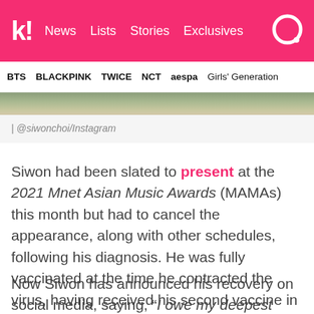k! News Lists Stories Exclusives
BTS   BLACKPINK   TWICE   NCT   aespa   Girls' Generation
| @siwonchoi/Instagram
Siwon had been slated to present at the 2021 Mnet Asian Music Awards (MAMAs) this month but had to cancel the appearance, along with other schedules, following his diagnosis. He was fully vaccinated at the time he contracted the virus, having received his second vaccine in September 2021.
Now Siwon has announced his recovery on social media, saying, “I owe my deepest gratitude to all the medical staffs who took care